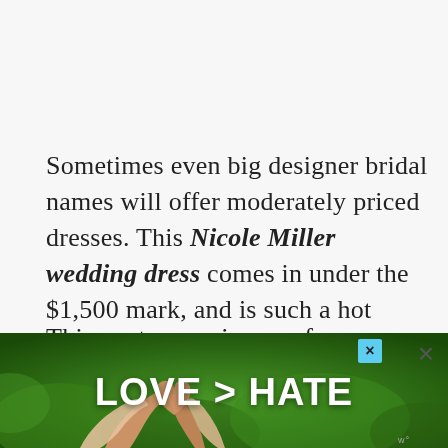Sometimes even big designer bridal names will offer moderately priced dresses. This Nicole Miller wedding dress comes in under the $1,500 mark, and is such a hot style!
This next group is one of our favorites, especially for a modern vintage style ! ModCloth has really expanded their bridal collection this year, and it is full of...
[Figure (photo): Advertisement banner with green background showing hands making heart shape and text 'LOVE > HATE']